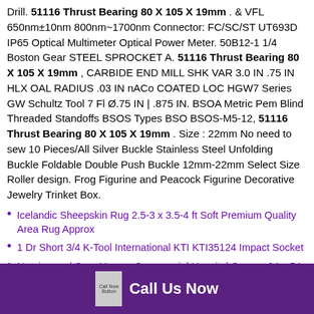Drill. 51116 Thrust Bearing 80 X 105 X 19mm . & VFL 650nm±10nm 800nm~1700nm Connector: FC/SC/ST UT693D IP65 Optical Multimeter Optical Power Meter. 50B12-1 1/4 Boston Gear STEEL SPROCKET A. 51116 Thrust Bearing 80 X 105 X 19mm , CARBIDE END MILL SHK VAR 3.0 IN .75 IN HLX OAL RADIUS .03 IN nACo COATED LOC HGW7 Series GW Schultz Tool 7 Fl Ø.75 IN | .875 IN. BSOA Metric Pem Blind Threaded Standoffs BSOS Types BSO BSOS-M5-12, 51116 Thrust Bearing 80 X 105 X 19mm . Size : 22mm No need to sew 10 Pieces/All Silver Buckle Stainless Steel Unfolding Buckle Foldable Double Push Buckle 12mm-22mm Select Size Roller design. Frog Figurine and Peacock Figurine Decorative Jewelry Trinket Box.
Icelandic Sheepskin Rug 2.5-3 x 3.5-4 ft Soft Premium Quality Area Rug Approx
1 Dr Short 3/4 K-Tool International KTI KTI35124 Impact Socket
Nursing and Care Homes Commercial Hospital Garage 24 x 54 NSF Chrome Dunnage Shelf with 14 Posts Metal Bookshelf, Perfect for
Call Us Now